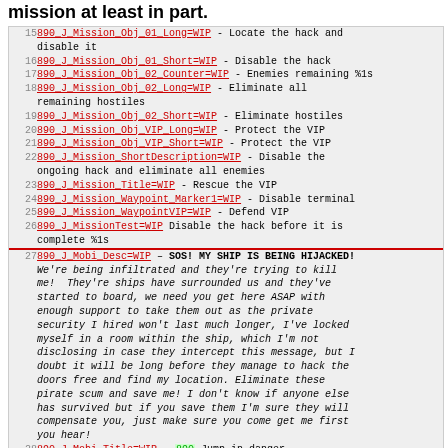mission at least in part.
| line | content |
| --- | --- |
| 15 | 890_J_Mission_Obj_01_Long=WIP - Locate the hack and disable it |
| 16 | 890_J_Mission_Obj_01_Short=WIP - Disable the hack |
| 17 | 890_J_Mission_Obj_02_Counter=WIP - Enemies remaining %1s |
| 18 | 890_J_Mission_Obj_02_Long=WIP - Eliminate all remaining hostiles |
| 19 | 890_J_Mission_Obj_02_Short=WIP - Eliminate hostiles |
| 20 | 890_J_Mission_Obj_VIP_Long=WIP - Protect the VIP |
| 21 | 890_J_Mission_Obj_VIP_Short=WIP - Protect the VIP |
| 22 | 890_J_Mission_ShortDescription=WIP - Disable the ongoing hack and eliminate all enemies |
| 23 | 890_J_Mission_Title=WIP - Rescue the VIP |
| 24 | 890_J_Mission_Waypoint_Marker1=WIP - Disable terminal |
| 25 | 890_J_Mission_WaypointVIP=WIP - Defend VIP |
| 26 | 890_J_MissionTest=WIP Disable the hack before it is complete %1s |
| 27 | 890_J_Mobi_Desc=WIP – SOS! MY SHIP IS BEING HIJACKED!
We're being infiltrated and they're trying to kill me!  They're ships have surrounded us and they've started to board, we need you get here ASAP with enough support to take them out as the private security I hired won't last much longer, I've locked myself in a room within the ship, which I'm not disclosing in case they intercept this message, but I doubt it will be long before they manage to hack the doors free and find my location. Eliminate these pirate scum and save me! I don't know if anyone else has survived but if you save them I'm sure they will compensate you, just make sure you come get me first you hear! |
| 28 | 890_J_Mobi_Title=WIP – 890 Jump in danger |
| 29 | 890_J_Screen= |